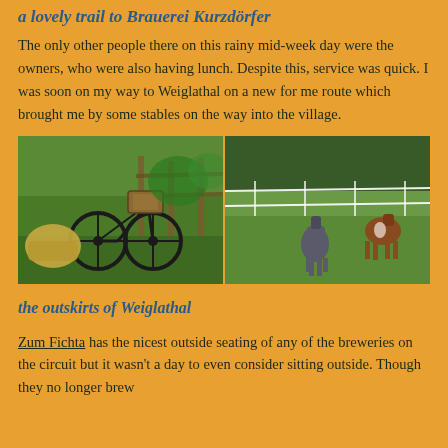a lovely trail to Brauerei Kurzdörfer
The only other people there on this rainy mid-week day were the owners, who were also having lunch. Despite this, service was quick. I was soon on my way to Weiglathal on a new for me route which brought me by some stables on the way into the village.
[Figure (photo): Two side-by-side photos: left shows an old bicycle with baskets near a wooden fence in a green garden; right shows two horses (one grey, one brown and white) in a fenced field.]
the outskirts of Weiglathal
Zum Fichta has the nicest outside seating of any of the breweries on the circuit but it wasn't a day to even consider sitting outside. Though they no longer brew